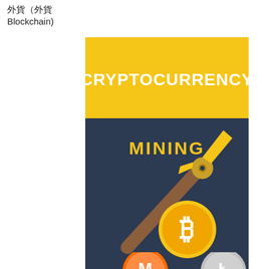外貨（外貨 Blockchain)
[Figure (illustration): Cryptocurrency Mining book cover illustration. Top section has a gold/yellow background with bold white text reading CRYPTOCURRENCY. Bottom section has a dark navy background with gold text reading MINING, a gold pickaxe graphic, a Bitcoin coin (gold with white B symbol), and partial coin logos at the bottom (Monero and Litecoin/other).]